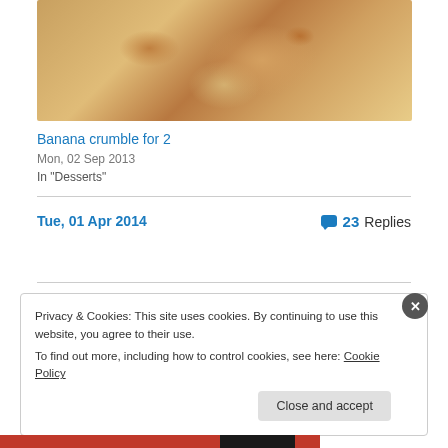[Figure (photo): Banana crumble dessert in a white ramekin with a spoon, viewed from above, showing golden-brown crumble topping]
Banana crumble for 2
Mon, 02 Sep 2013
In "Desserts"
Tue, 01 Apr 2014
23 Replies
Privacy & Cookies: This site uses cookies. By continuing to use this website, you agree to their use.
To find out more, including how to control cookies, see here: Cookie Policy
Close and accept